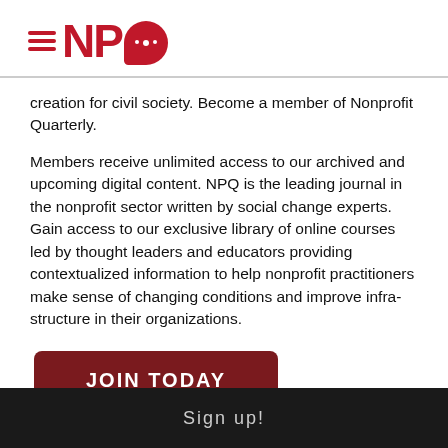[Figure (logo): NPQ (Nonprofit Quarterly) logo with three red horizontal lines and red speech bubble with dots]
creation for civil society. Become a member of Nonprofit Quarterly.
Members receive unlimited access to our archived and upcoming digital content. NPQ is the leading journal in the nonprofit sector written by social change experts. Gain access to our exclusive library of online courses led by thought leaders and educators providing contextualized information to help nonprofit practitioners make sense of changing conditions and improve infra-structure in their organizations.
JOIN TODAY
Sign up!